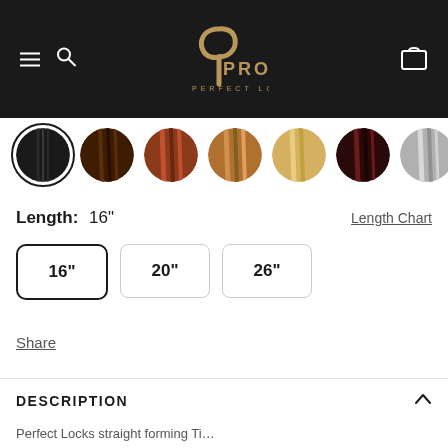[Figure (logo): Pro Perfect Locks logo with golden P mark and text on black background]
[Figure (illustration): Seven circular hair color swatches: black, dark brown, auburn/red, copper/golden, blonde, dark burgundy, silver/gray. Black swatch is selected with outline ring.]
Length: 16"
Length Chart
16"
20"
26"
Share
DESCRIPTION
Perfect Locks straight forming Ti…